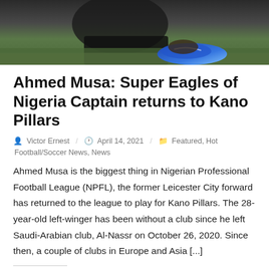[Figure (photo): Photo of a person on grass wearing blue shoes/cleats, cropped at top of page]
Ahmed Musa: Super Eagles of Nigeria Captain returns to Kano Pillars
Victor Ernest  /  April 14, 2021  /  Featured, Hot Football/Soccer News, News
Ahmed Musa is the biggest thing in Nigerian Professional Football League (NPFL), the former Leicester City forward has returned to the league to play for Kano Pillars. The 28-year-old left-winger has been without a club since he left Saudi-Arabian club, Al-Nassr on October 26, 2020. Since then, a couple of clubs in Europe and Asia [...]
Share this: